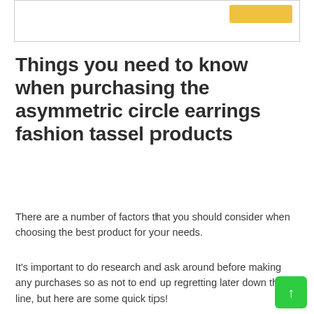[Figure (other): Top box with a yellow button element partially visible at top of page]
Things you need to know when purchasing the asymmetric circle earrings fashion tassel products
There are a number of factors that you should consider when choosing the best product for your needs.
It's important to do research and ask around before making any purchases so as not to end up regretting later down the line, but here are some quick tips!